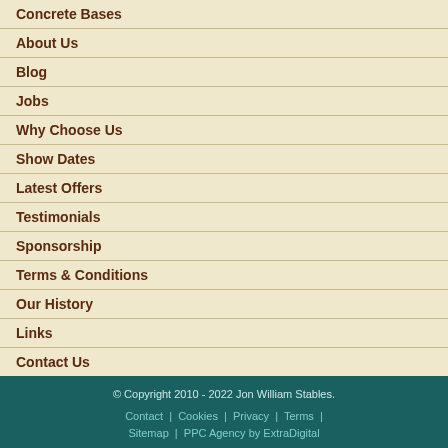Concrete Bases
About Us
Blog
Jobs
Why Choose Us
Show Dates
Latest Offers
Testimonials
Sponsorship
Terms & Conditions
Our History
Links
Contact Us
© Copyright 2010 - 2022 Jon William Stables. Contact | Cookies | Privacy | Terms | Sitemap | PPC Agency by ExtraDigital